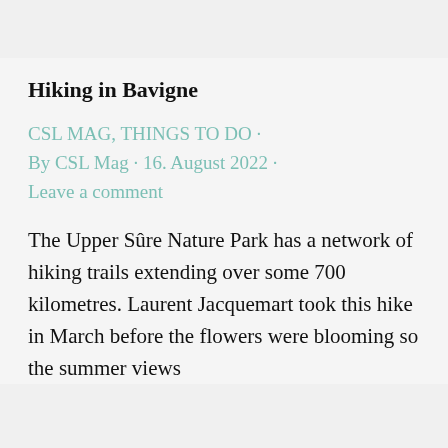Hiking in Bavigne
CSL MAG, THINGS TO DO · By CSL Mag · 16. August 2022 · Leave a comment
The Upper Sûre Nature Park has a network of hiking trails extending over some 700 kilometres. Laurent Jacquemart took this hike in March before the flowers were blooming so the summer views